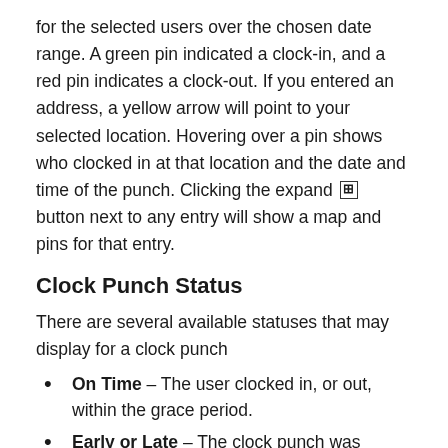for the selected users over the chosen date range. A green pin indicated a clock-in, and a red pin indicates a clock-out. If you entered an address, a yellow arrow will point to your selected location. Hovering over a pin shows who clocked in at that location and the date and time of the punch. Clicking the expand [+] button next to any entry will show a map and pins for that entry.
Clock Punch Status
There are several available statuses that may display for a clock punch
On Time – The user clocked in, or out, within the grace period.
Early or Late – The clock punch was outside of the grace period.
Absent – The user was scheduled but did not work.